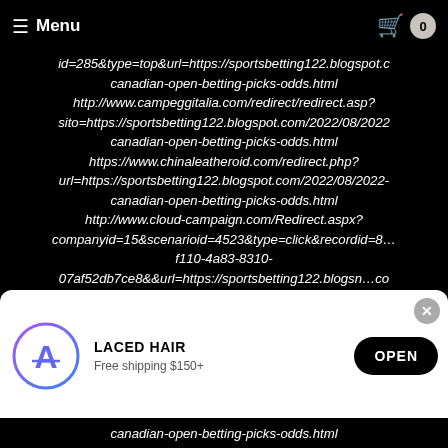Menu  0
id=285&type=top&url=https://sportsbetting122.blogspot.c… canadian-open-betting-picks-odds.html http://www.campeggitalia.com/redirect/redirect.asp? sito=https://sportsbetting122.blogspot.com/2022/08/2022 canadian-open-betting-picks-odds.html https://www.chinaleatheroid.com/redirect.php? url=https://sportsbetting122.blogspot.com/2022/08/2022- canadian-open-betting-picks-odds.html http://www.cloud-campaign.com/Redirect.aspx? companyid=15&scenarioid=4523&type=click&recordid=8… f110-4a83-8310- 07af52db7ce8&&url=https://sportsbetting122.blogsp…co canadian-open-betting-picks-odds.html
[Figure (screenshot): App install banner for LACED HAIR app with App Store icon, 'Free shipping $150+' subtext, and OPEN button]
canadian-open-betting-picks-odds.html